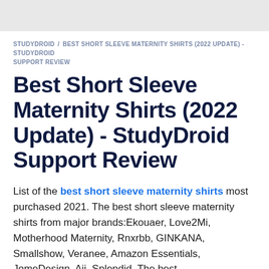STUDYDROID / BEST SHORT SLEEVE MATERNITY SHIRTS (2022 UPDATE) - STUDYDROID SUPPORT REVIEW
Best Short Sleeve Maternity Shirts (2022 Update) - StudyDroid Support Review
List of the best short sleeve maternity shirts most purchased 2021. The best short sleeve maternity shirts from major brands:Ekouaer, Love2Mi, Motherhood Maternity, Rnxrbb, GINKANA, Smallshow, Veranee, Amazon Essentials, JomeDesign, Aii, Splendid. The best